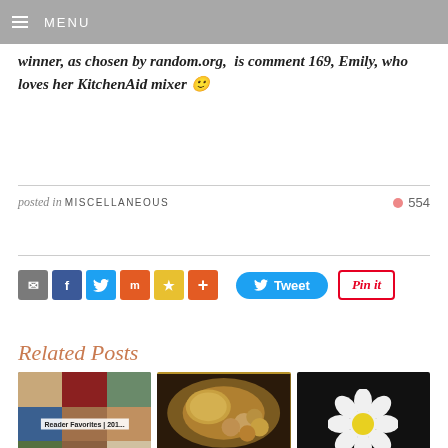≡ MENU
winner, as chosen by random.org,  is comment 169, Emily, who loves her KitchenAid mixer 🙂
posted in MISCELLANEOUS   • 554
[Figure (screenshot): Social sharing buttons: email, Facebook, Twitter, Mix, star, plus; Tweet button; Pin it button]
Related Posts
[Figure (photo): Reader Favorites 2013 collage of food photos]
[Figure (photo): Food photo showing golden sauce and bread rolls]
Just a few suggestions for
[Figure (photo): White flower-shaped cookie on black background with yellow center]